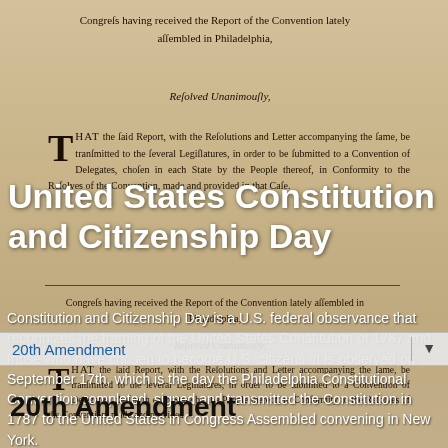[Figure (photo): Aged parchment document showing historical U.S. Congress text including 'Congress having received the Report of the Convention lately assembled in Philadelphia', 'Resolved Unanimously', and 'THAT the said Report, with the Resolutions and Letter accompanying the same, be transmitted to the several Legislatures, in order to be submitted to a Convention of Delegates, chosen in each State by the People thereof, in Conformity to the Resolves of the Convention, made and provided in that Case.' The image appears twice (top and bottom) with a horizontal divider line between, creating a background for the overlaid text.]
United States Constitution and Citizenship Day
Constitution and Citizenship Day is a U.S. federal observance that recognizes the framing of the United States Constitution of 1787 and those who have chosen to become U.S. citizens. It is observed on September 17th, which is the day the Philadelphia Constitutional Convention completed, signed and transmitted the Constitution in 1787 to the United States in Congress Assembled convening in New York.
20th Amendment
20th Amendment